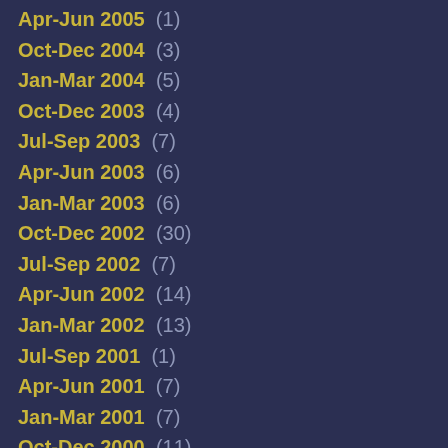Apr-Jun 2005  (1)
Oct-Dec 2004  (3)
Jan-Mar 2004  (5)
Oct-Dec 2003  (4)
Jul-Sep 2003  (7)
Apr-Jun 2003  (6)
Jan-Mar 2003  (6)
Oct-Dec 2002  (30)
Jul-Sep 2002  (7)
Apr-Jun 2002  (14)
Jan-Mar 2002  (13)
Jul-Sep 2001  (1)
Apr-Jun 2001  (7)
Jan-Mar 2001  (7)
Oct-Dec 2000  (11)
Jul-Sep 2000  (13)
Apr-Jun 2000  (5)
Jan-Mar 2000  (14)